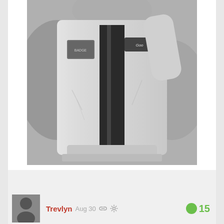[Figure (photo): Black and white photograph of a racing driver in a white racing suit with dark vertical stripes and badges, raising one arm, with blurred crowd in background]
Trevlyn  Aug 30